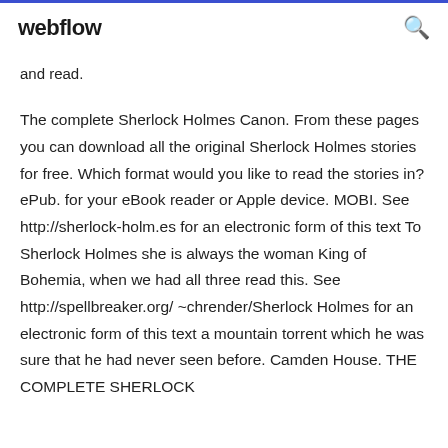webflow
and read.
The complete Sherlock Holmes Canon. From these pages you can download all the original Sherlock Holmes stories for free. Which format would you like to read the stories in? ePub. for your eBook reader or Apple device. MOBI. See http://sherlock-holm.es for an electronic form of this text To Sherlock Holmes she is always the woman King of Bohemia, when we had all three read this. See http://spellbreaker.org/~chrender/Sherlock Holmes for an electronic form of this text a mountain torrent which he was sure that he had never seen before. Camden House. THE COMPLETE SHERLOCK